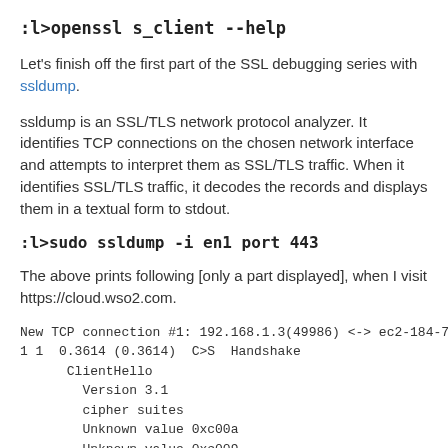:l>openssl s_client --help
Let's finish off the first part of the SSL debugging series with ssldump.
ssldump is an SSL/TLS network protocol analyzer. It identifies TCP connections on the chosen network interface and attempts to interpret them as SSL/TLS traffic. When it identifies SSL/TLS traffic, it decodes the records and displays them in a textual form to stdout.
:l>sudo ssldump -i en1 port 443
The above prints following [only a part displayed], when I visit https://cloud.wso2.com.
New TCP connection #1: 192.168.1.3(49986) <-> ec2-184-73-
1 1  0.3614 (0.3614)  C>S  Handshake
      ClientHello
        Version 3.1
        cipher suites
        Unknown value 0xc00a
        Unknown value 0xc009